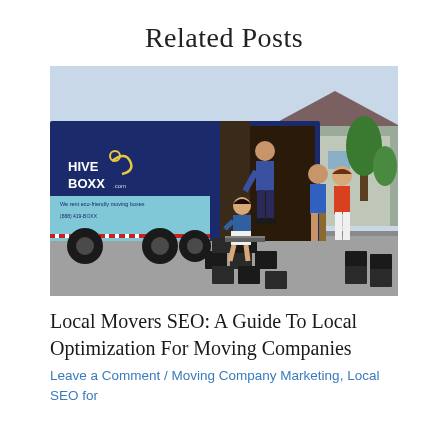Related Posts
[Figure (photo): A HiveBoxx.com moving truck with people unloading eco-friendly moving boxes outside a suburban home.]
Local Movers SEO: A Guide To Local Optimization For Moving Companies
Leave a Comment / Moving Company Marketing, Local SEO for Moving Companies, SEO / By jeff / July 12, 2021